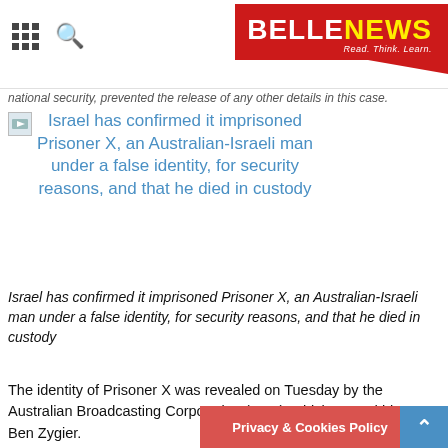BELLE NEWS — Read. Think. Learn.
national security, prevented the release of any other details in this case.
Israel has confirmed it imprisoned Prisoner X, an Australian-Israeli man under a false identity, for security reasons, and that he died in custody
Israel has confirmed it imprisoned Prisoner X, an Australian-Israeli man under a false identity, for security reasons, and that he died in custody
The identity of Prisoner X was revealed on Tuesday by the Australian Broadcasting Corporation (ABC), which named him as Ben Zygier.
According to its report, he was an active member of Melbourne's Jewish community before emigrating to Israel in 2000 and serving in the army.
At the time of his death, Ben Z… to an Israeli woman and had two children.